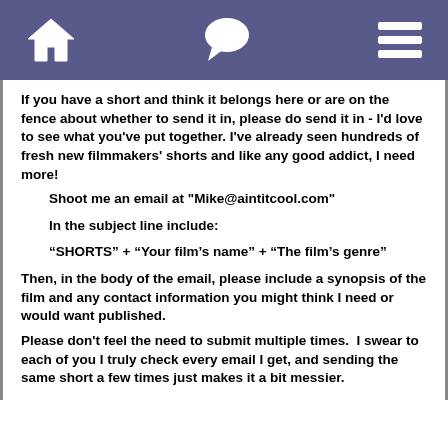[navigation bar with home, chat, and menu icons]
If you have a short and think it belongs here or are on the fence about whether to send it in, please do send it in - I'd love to see what you've put together. I've already seen hundreds of fresh new filmmakers' shorts and like any good addict, I need more!
Shoot me an email at "Mike@aintitcool.com"
In the subject line include:
“SHORTS” + “Your film’s name” + “The film’s genre”
Then, in the body of the email, please include a synopsis of the film and any contact information you might think I need or would want published.
Please don't feel the need to submit multiple times.  I swear to each of you I truly check every email I get, and sending the same short a few times just makes it a bit messier.